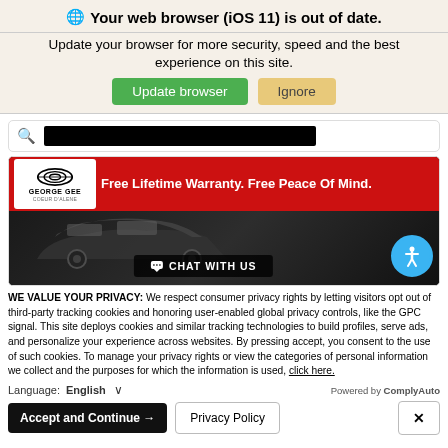Your web browser (iOS 11) is out of date.
Update your browser for more security, speed and the best experience on this site.
[Figure (screenshot): Green 'Update browser' button and tan 'Ignore' button]
[Figure (screenshot): Search bar area with magnifying glass icon and blacked-out search text]
[Figure (screenshot): George Gee Coeur D'Alene dealership banner ad with red background, white logo, text 'Free Lifetime Warranty. Free Peace Of Mind.', car image, CHAT WITH US button, and accessibility icon]
WE VALUE YOUR PRIVACY: We respect consumer privacy rights by letting visitors opt out of third-party tracking cookies and honoring user-enabled global privacy controls, like the GPC signal. This site deploys cookies and similar tracking technologies to build profiles, serve ads, and personalize your experience across websites. By pressing accept, you consent to the use of such cookies. To manage your privacy rights or view the categories of personal information we collect and the purposes for which the information is used, click here.
Language:  English  ∨  Powered by ComplyAuto
Accept and Continue →   Privacy Policy   ×